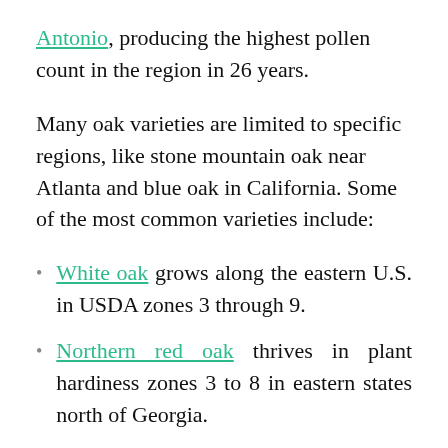Antonio, producing the highest pollen count in the region in 26 years.
Many oak varieties are limited to specific regions, like stone mountain oak near Atlanta and blue oak in California. Some of the most common varieties include:
White oak grows along the eastern U.S. in USDA zones 3 through 9.
Northern red oak thrives in plant hardiness zones 3 to 8 in eastern states north of Georgia.
Live oak is often found draped in moss across the South, it grows in zones 8 through 10.
10. Di...